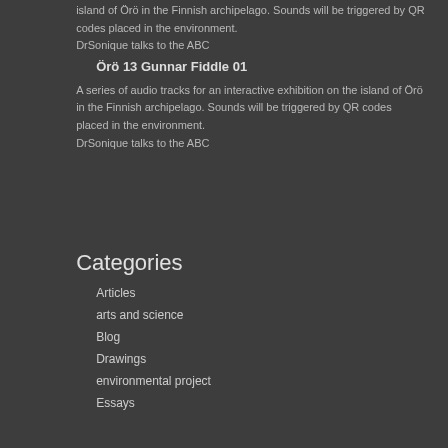island of Örö in the Finnish archipelago. Sounds will be triggered by QR codes placed in the environment. DrSonique talks to the ABC
Örö 13 Gunnar Fiddle 01
A series of audio tracks for an interactive exhibition on the island of Örö in the Finnish archipelago. Sounds will be triggered by QR codes placed in the environment. DrSonique talks to the ABC
Categories
Articles
arts and science
Blog
Drawings
environmental project
Essays